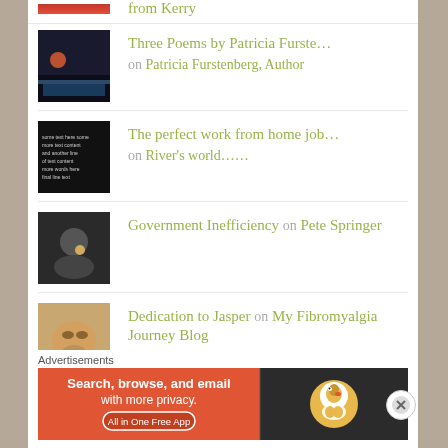Three Poems by Patricia Furste… on Patricia Furstenberg, Author
The perfect work from home job… on River's world……
Government Inefficiency on Pete Springer
Dedication to Jasper on My Fibromyalgia Journey Blog
Granny and the old man snoring on Granny1947s Blog
Advertisements
[Figure (screenshot): DuckDuckGo advertisement banner: 'Search, browse, and email with more privacy. All in One Free App' with DuckDuckGo logo on dark background]